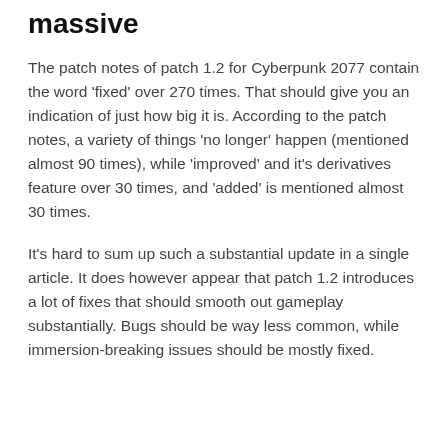massive
The patch notes of patch 1.2 for Cyberpunk 2077 contain the word 'fixed' over 270 times. That should give you an indication of just how big it is. According to the patch notes, a variety of things 'no longer' happen (mentioned almost 90 times), while 'improved' and it's derivatives feature over 30 times, and 'added' is mentioned almost 30 times.
It's hard to sum up such a substantial update in a single article. It does however appear that patch 1.2 introduces a lot of fixes that should smooth out gameplay substantially. Bugs should be way less common, while immersion-breaking issues should be mostly fixed.